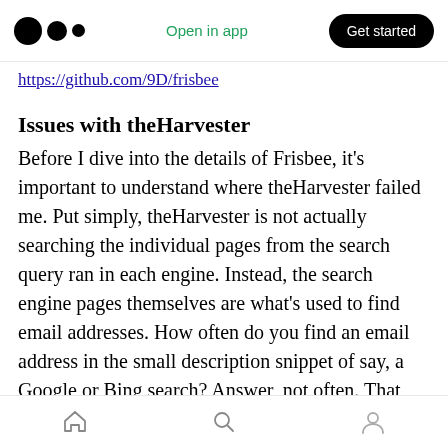Open in app | Get started
https://github.com/9D/frisbee
Issues with theHarvester
Before I dive into the details of Frisbee, it’s important to understand where theHarvester failed me. Put simply, theHarvester is not actually searching the individual pages from the search query ran in each engine. Instead, the search engine pages themselves are what’s used to find email addresses. How often do you find an email address in the small description snippet of say, a Google or Bing search? Answer, not often. That said, theHarvester does find some emails, but I